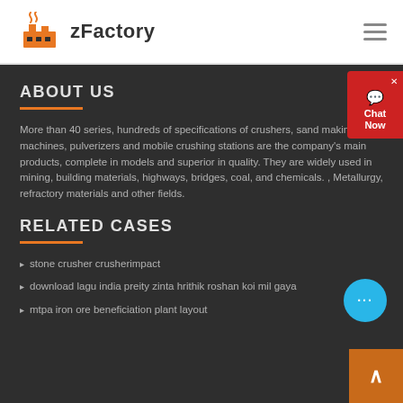zFactory
ABOUT US
More than 40 series, hundreds of specifications of crushers, sand making machines, pulverizers and mobile crushing stations are the company's main products, complete in models and superior in quality. They are widely used in mining, building materials, highways, bridges, coal, and chemicals. , Metallurgy, refractory materials and other fields.
RELATED CASES
stone crusher crusherimpact
download lagu india preity zinta hrithik roshan koi mil gaya
mtpa iron ore beneficiation plant layout